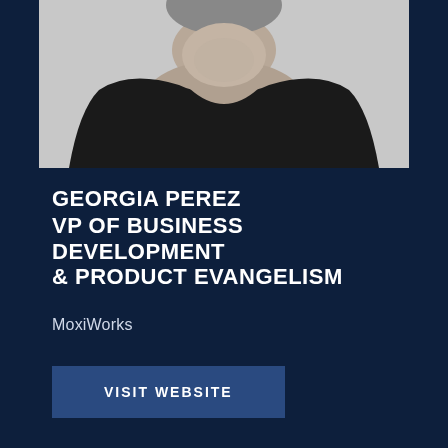[Figure (photo): Black and white headshot photo of a woman wearing a black v-neck long-sleeve top, upper body visible, photographed against a light background.]
GEORGIA PEREZ
VP OF BUSINESS DEVELOPMENT
& PRODUCT EVANGELISM
MoxiWorks
VISIT WEBSITE